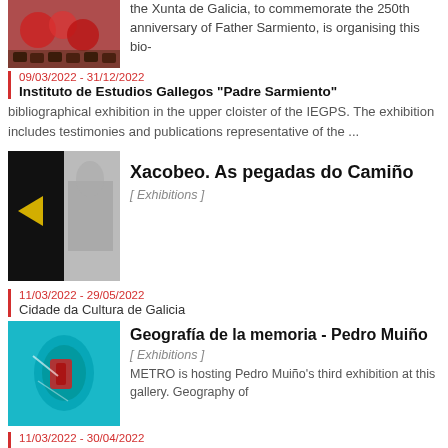[Figure (photo): Roses and chocolates photo (partial top of page)]
the Xunta de Galicia, to commemorate the 250th anniversary of Father Sarmiento, is organising this bio-
09/03/2022 - 31/12/2022
Instituto de Estudios Gallegos "Padre Sarmiento"
bibliographical exhibition in the upper cloister of the IEGPS. The exhibition includes testimonies and publications representative of the ...
[Figure (photo): Black and white artwork photo for Xacobeo. As pegadas do Camiño exhibition]
Xacobeo. As pegadas do Camiño
[ Exhibitions ]
11/03/2022 - 29/05/2022
Cidade da Cultura de Galicia
[Figure (photo): Teal and blue abstract sculpture photo for Geografía de la memoria - Pedro Muiño exhibition]
Geografía de la memoria - Pedro Muiño
[ Exhibitions ]
METRO is hosting Pedro Muiño's third exhibition at this gallery. Geography of
11/03/2022 - 30/04/2022
Metro Arte Contemporáneo